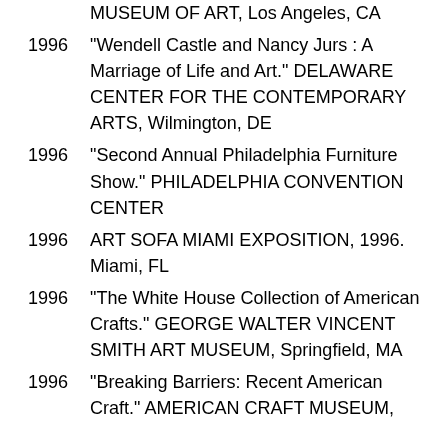MUSEUM OF ART, Los Angeles, CA
1996 “Wendell Castle and Nancy Jurs : A Marriage of Life and Art.” DELAWARE CENTER FOR THE CONTEMPORARY ARTS, Wilmington, DE
1996 “Second Annual Philadelphia Furniture Show.” PHILADELPHIA CONVENTION CENTER
1996 ART SOFA MIAMI EXPOSITION, 1996. Miami, FL
1996 “The White House Collection of American Crafts.” GEORGE WALTER VINCENT SMITH ART MUSEUM, Springfield, MA
1996 “Breaking Barriers: Recent American Craft.” AMERICAN CRAFT MUSEUM,